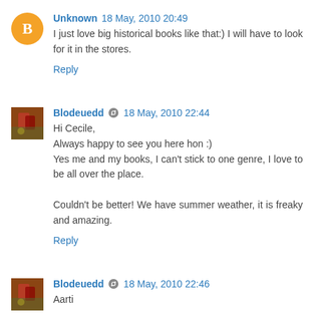Unknown 18 May, 2010 20:49
I just love big historical books like that:) I will have to look for it in the stores.
Reply
Blodeuedd 18 May, 2010 22:44
Hi Cecile,
Always happy to see you here hon :)
Yes me and my books, I can't stick to one genre, I love to be all over the place.

Couldn't be better! We have summer weather, it is freaky and amazing.
Reply
Blodeuedd 18 May, 2010 22:46
Aarti